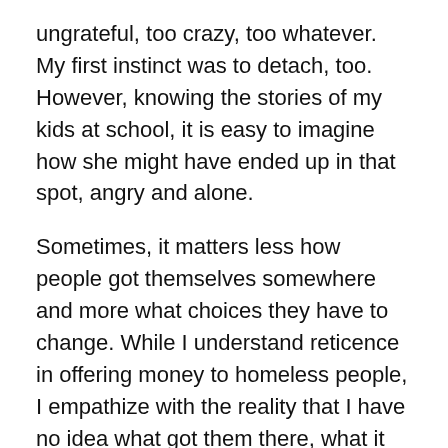ungrateful, too crazy, too whatever. My first instinct was to detach, too. However, knowing the stories of my kids at school, it is easy to imagine how she might have ended up in that spot, angry and alone.
Sometimes, it matters less how people got themselves somewhere and more what choices they have to change. While I understand reticence in offering money to homeless people, I empathize with the reality that I have no idea what got them there, what it feels like to be at rock bottom, to spend the night cold, on the street, afraid. Absent of drugs, abuse or mental illness, I cannot believe anyone chooses this reality over what “the rest of us” have.
As I lay awake contemplating her fate, homeless or otherwise, I realized she touched something in me that